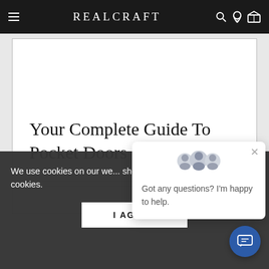REALCRAFT
Your Complete Guide To Pocket Doors
We use cookies on our we... shopping experience. By u... of cookies.
Got any questions? I'm happy to help.
I AGREE